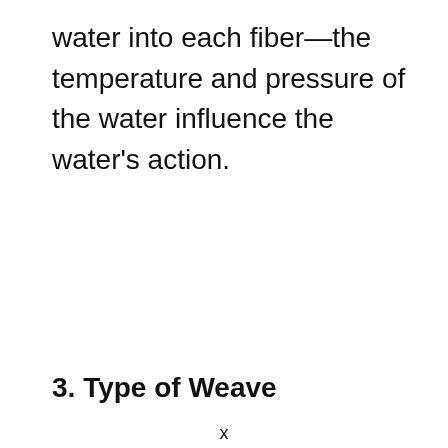water into each fiber—the temperature and pressure of the water influence the water's action.
3. Type of Weave
x